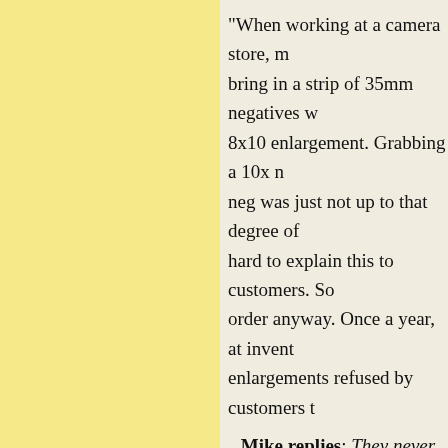"When working at a camera store, m... bring in a strip of 35mm negatives w... 8x10 enlargement. Grabbing a 10x n... neg was just not up to that degree of... hard to explain this to customers. So... order anyway. Once a year, at invent... enlargements refused by customers t...
Mike replies: They never wan...
Posted on Thursday, 29 April 2021 at 12:55 PM in Pho... Permalink
Dear Mike
Recently had a simular discussion on...
We found that perfectly sharp pictur...